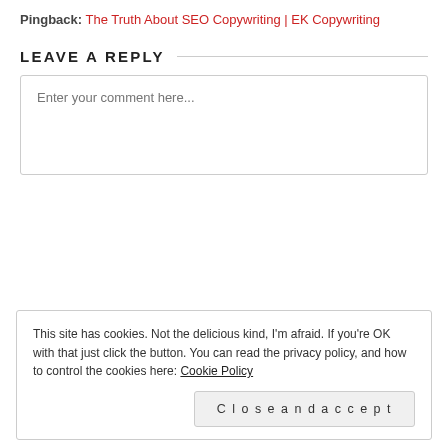Pingback: The Truth About SEO Copywriting | EK Copywriting
LEAVE A REPLY
Enter your comment here...
This site has cookies. Not the delicious kind, I'm afraid. If you're OK with that just click the button. You can read the privacy policy, and how to control the cookies here: Cookie Policy
Close and accept